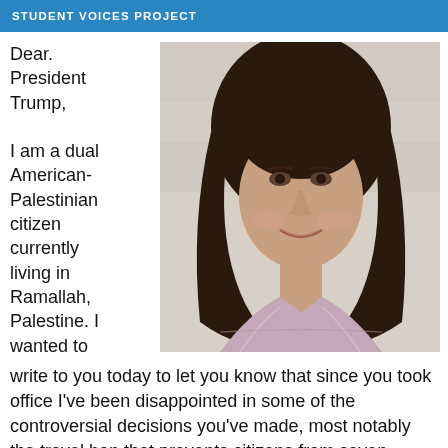STUDENT VOICES PROJECT
Dear. President Trump,

I am a dual American-Palestinian citizen currently living in Ramallah, Palestine. I wanted to write to you today to let you know that since you took office I've been disappointed in some of the controversial decisions you've made, most notably the travel ban that prevents citizens from seven Muslim-majority countries from entering the United
[Figure (photo): Portrait photo of a young girl with long curly dark hair, smiling, wearing a plaid shirt, posed against a light stone wall background.]